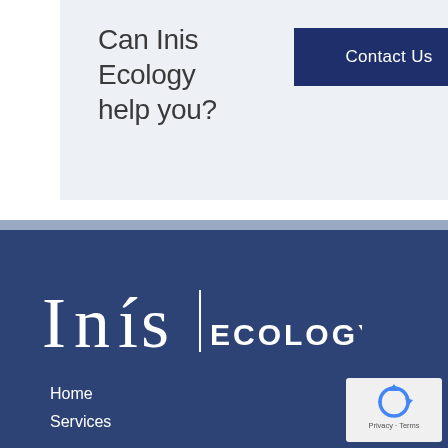Can Inis Ecology help you?
[Figure (other): Dark navy 'Contact Us' button]
[Figure (logo): Inis Ecology logo in white on dark blue background]
Home
Services
[Figure (other): reCAPTCHA badge showing privacy and terms]